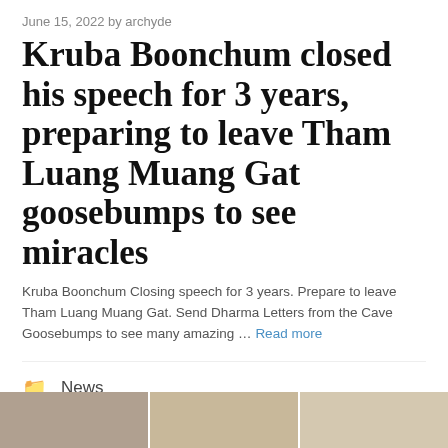June 15, 2022 by archyde
Kruba Boonchum closed his speech for 3 years, preparing to leave Tham Luang Muang Gat goosebumps to see miracles
Kruba Boonchum Closing speech for 3 years. Prepare to leave Tham Luang Muang Gat. Send Dharma Letters from the Cave Goosebumps to see many amazing … Read more
News
Breaking news, Kruba Boonchum, Kruba Boonchum's letter, Latest news, Myanmar, news today, Phra Boonchum, Social circle, society, Tham Luang, Tham Luang Muang Gad
[Figure (photo): Thumbnail images at the bottom of the page]